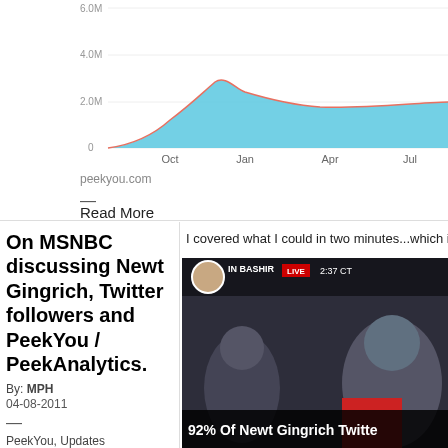[Figure (area-chart): peekyou.com]
peekyou.com
—
Read More
On MSNBC discussing Newt Gingrich, Twitter followers and PeekYou / PeekAnalytics.
By: MPH
04-08-2011
—
PeekYou, Updates
I covered what I could in two minutes...which isn't a wh
[Figure (screenshot): MSNBC video screenshot showing Martin Bashir anchor with headline '92% Of Newt Gingrich Twitte' with LIVE badge and time 2:37 CT]